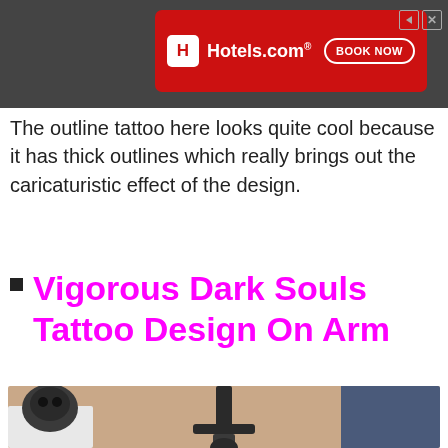[Figure (photo): Hotels.com advertisement banner with red background, Hotels.com logo with white H box icon, and BOOK NOW button in white outline pill shape, overlaid on a dark background photo]
The outline tattoo here looks quite cool because it has thick outlines which really brings out the caricaturistic effect of the design.
Vigorous Dark Souls Tattoo Design On Arm
[Figure (photo): A Dark Souls themed sword tattoo on a person's forearm. The tattoo shows a detailed dark sword with ornate crossguard and hilt, with a skull decoration on the pommel area, placed against a background that includes a dark skull sculpture on a white pedestal.]